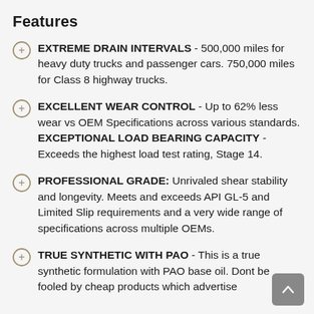Features
EXTREME DRAIN INTERVALS - 500,000 miles for heavy duty trucks and passenger cars. 750,000 miles for Class 8 highway trucks.
EXCELLENT WEAR CONTROL - Up to 62% less wear vs OEM Specifications across various standards. EXCEPTIONAL LOAD BEARING CAPACITY - Exceeds the highest load test rating, Stage 14.
PROFESSIONAL GRADE: Unrivaled shear stability and longevity. Meets and exceeds API GL-5 and Limited Slip requirements and a very wide range of specifications across multiple OEMs.
TRUE SYNTHETIC WITH PAO - This is a true synthetic formulation with PAO base oil. Dont be fooled by cheap products which advertise